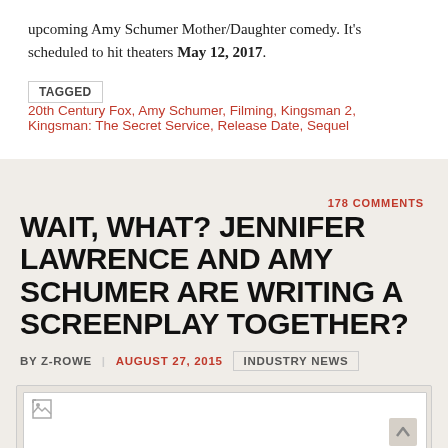upcoming Amy Schumer Mother/Daughter comedy. It's scheduled to hit theaters May 12, 2017.
TAGGED  20th Century Fox, Amy Schumer, Filming, Kingsman 2, Kingsman: The Secret Service, Release Date, Sequel
178 COMMENTS
WAIT, WHAT? JENNIFER LAWRENCE AND AMY SCHUMER ARE WRITING A SCREENPLAY TOGETHER?
BY Z-ROWE  AUGUST 27, 2015  INDUSTRY NEWS
[Figure (photo): Placeholder image block with broken image icon in top-left corner, white inner box on grey background]